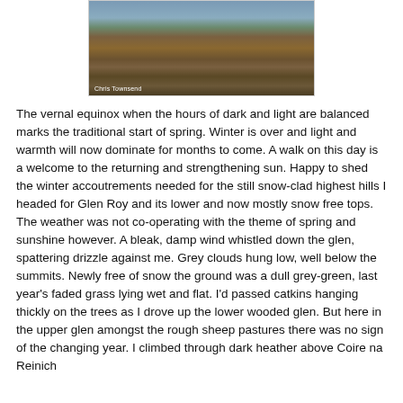[Figure (photo): A landscape photograph of a Scottish glen with rolling hills covered in heather and grass. Grey-brown hillsides with sparse trees visible. Photo credit: Chris Townsend.]
The vernal equinox when the hours of dark and light are balanced marks the traditional start of spring. Winter is over and light and warmth will now dominate for months to come. A walk on this day is a welcome to the returning and strengthening sun. Happy to shed the winter accoutrements needed for the still snow-clad highest hills I headed for Glen Roy and its lower and now mostly snow free tops. The weather was not co-operating with the theme of spring and sunshine however. A bleak, damp wind whistled down the glen, spattering drizzle against me. Grey clouds hung low, well below the summits. Newly free of snow the ground was a dull grey-green, last year's faded grass lying wet and flat. I'd passed catkins hanging thickly on the trees as I drove up the lower wooded glen. But here in the upper glen amongst the rough sheep pastures there was no sign of the changing year. I climbed through dark heather above Coire na Reinich